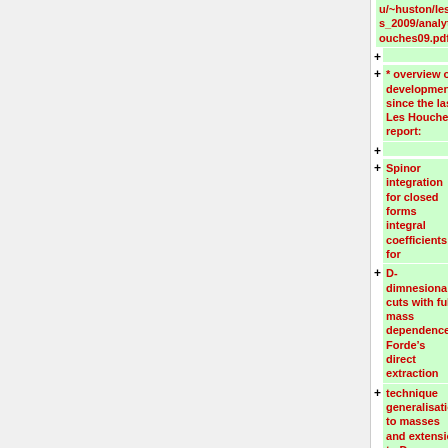u/~huston/les_houches_2009/analytic1l_leshouches09.pdf]"
* overview of developments since the last Les Houches report:
Spinor integration for closed forms integral coefficients for
D-dimnesional cuts with full mass dependence. Forde’s direct extraction
technique generalisation to masses and extension to D-dimensional cuts.
Complex analysis: Cauchy’s and Stoke’s